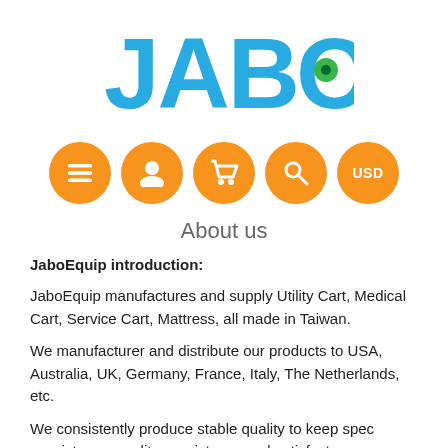[Figure (logo): JABO logo in blue with a green dot in the O letter]
[Figure (infographic): Five orange circular navigation icons: hamburger menu, user/person, shopping cart, magnifying glass/search, and USD currency selector]
About us
JaboEquip introduction:
JaboEquip manufactures and supply Utility Cart, Medical Cart, Service Cart, Mattress, all made in Taiwan.
We manufacturer and distribute our products to USA, Australia, UK, Germany, France, Italy, The Netherlands, etc.
We consistently produce stable quality to keep spec consistency, quality consistency and satisfactory consistency ! Some produce cheap products with cheap quality to gain high sales, we produce high quality with reasonable price to gain